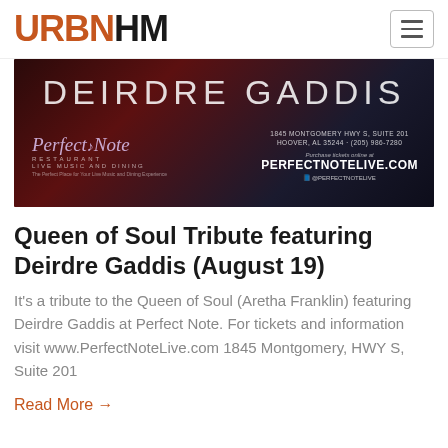URBNHM
[Figure (illustration): Dark promotional banner for Deirdre Gaddis performance at Perfect Note Restaurant. Shows 'DEIRDRE GADDIS' in large white letters on dark background with purple/red gradient. Perfect Note Restaurant logo on left with address '1845 MONTGOMERY HWY S, SUITE 201, HOOVER, AL 35244 · (205) 986-7280'. Text 'Purchase tickets online at PERFECTNOTELIVE.COM' and Facebook icon '@PERFECTNOTELIVE'.]
Queen of Soul Tribute featuring Deirdre Gaddis (August 19)
It's a tribute to the Queen of Soul (Aretha Franklin) featuring Deirdre Gaddis at Perfect Note. For tickets and information visit www.PerfectNoteLive.com 1845 Montgomery, HWY S, Suite 201
Read More →